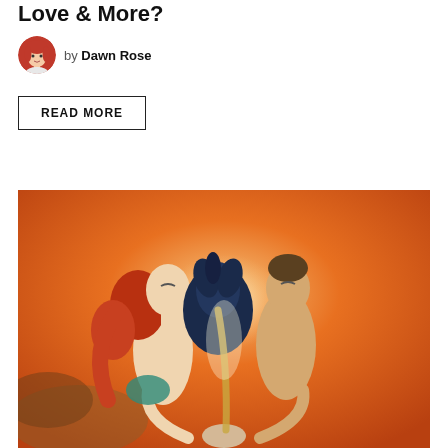Love & More?
by Dawn Rose
READ MORE
[Figure (illustration): Fantasy illustration of a woman with red hair and a man standing back-to-back, both looking upward, holding hands, with a dark bird-like figure between them on an orange/fiery background.]